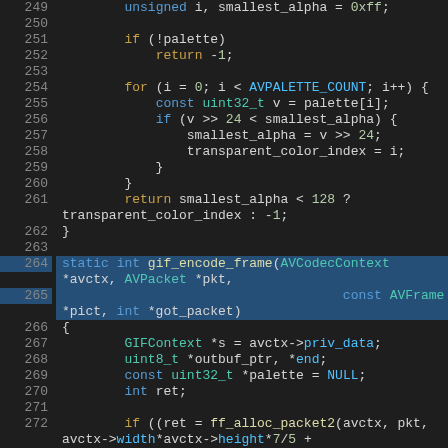[Figure (screenshot): Source code viewer showing C code for a GIF encoder, lines 249-277, with syntax highlighting. Line numbers in gray, green/yellow gutter indicators, dark background IDE theme.]